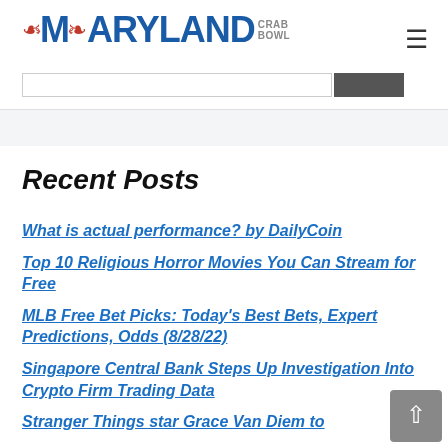MARYLAND CRAB BOWL
Recent Posts
What is actual performance? by DailyCoin
Top 10 Religious Horror Movies You Can Stream for Free
MLB Free Bet Picks: Today's Best Bets, Expert Predictions, Odds (8/28/22)
Singapore Central Bank Steps Up Investigation Into Crypto Firm Trading Data
Stranger Things star Grace Van Diem to